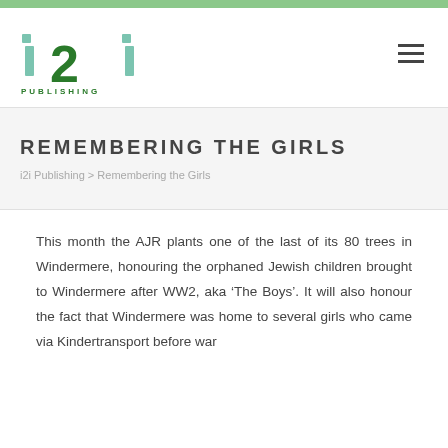[Figure (logo): i2i Publishing logo — stylized letters i, 2, i in green with PUBLISHING below]
REMEMBERING THE GIRLS
i2i Publishing > Remembering the Girls
This month the AJR plants one of the last of its 80 trees in Windermere, honouring the orphaned Jewish children brought to Windermere after WW2, aka 'The Boys'. It will also honour the fact that Windermere was home to several girls who came via Kindertransport before war